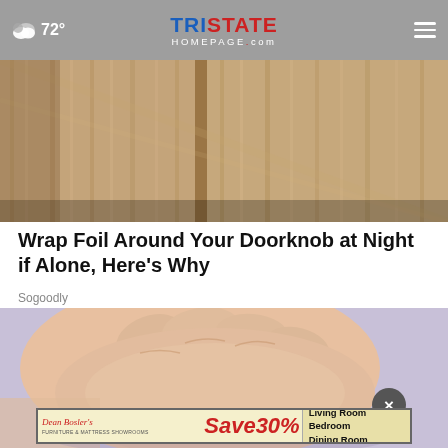☁ 72° | TRISTATE HOMEPAGE.com
[Figure (photo): Close-up of wooden door panels or cabinet surface with vertical grain texture in warm tan/brown tones]
Wrap Foil Around Your Doorknob at Night if Alone, Here's Why
Sogoodly
[Figure (photo): Close-up of a person's hand scratching or touching bare skin on a light purple/lavender background, with a small dark spot visible on the skin]
[Figure (other): Dean Bosler's Furniture & Mattress Showrooms advertisement: Save 30% on Living Room, Bedroom, Dining Room]